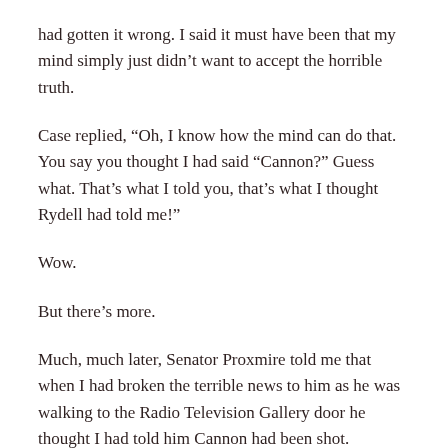had gotten it wrong. I said it must have been that my mind simply just didn't want to accept the horrible truth.
Case replied, “Oh, I know how the mind can do that. You say you thought I had said “Cannon?” Guess what. That’s what I told you, that’s what I thought Rydell had told me!”
Wow.
But there’s more.
Much, much later, Senator Proxmire told me that when I had broken the terrible news to him as he was walking to the Radio Television Gallery door he thought I had told him Cannon had been shot.
“Funny  how at a time like that the mind plays such tricks,” said Proxmire.